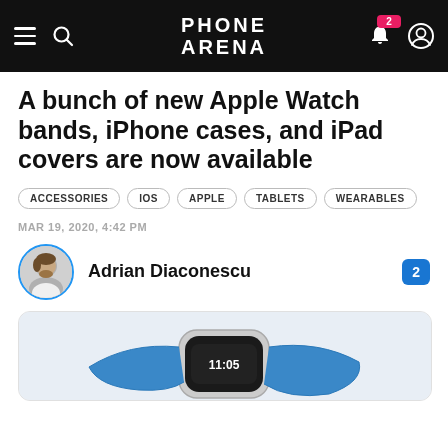PHONE ARENA
A bunch of new Apple Watch bands, iPhone cases, and iPad covers are now available
ACCESSORIES
IOS
APPLE
TABLETS
WEARABLES
MAR 19, 2020, 4:42 PM
Adrian Diaconescu
[Figure (photo): Apple Watch with a blue sport band]